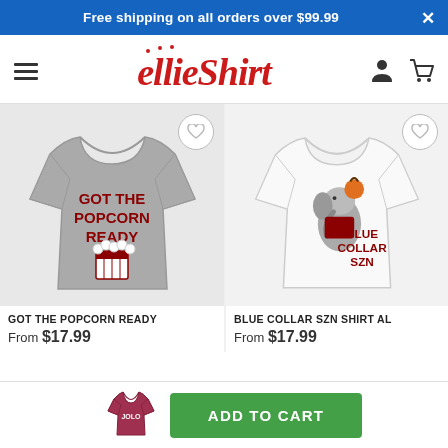Free shipping on all orders over $99.99
[Figure (logo): ellieShirt brand logo in red cursive text]
[Figure (photo): Gray t-shirt with GOT THE POPCORN READY text and popcorn graphic]
GOT THE POPCORN READY
From $17.99
[Figure (photo): White t-shirt with elephant mascot and BLUE COLLAR SZN text]
BLUE COLLAR SZN SHIRT Al
From $17.99
[Figure (photo): Small red t-shirt thumbnail in bottom bar]
ADD TO CART